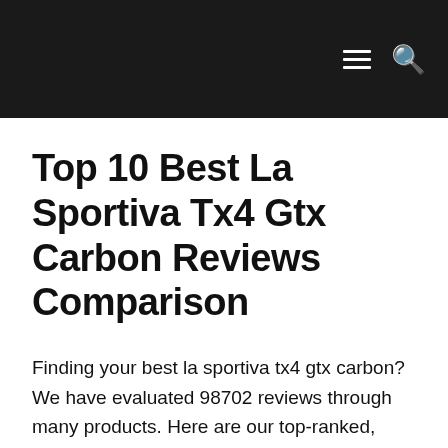Top 10 Best La Sportiva Tx4 Gtx Carbon Reviews Comparison
Finding your best la sportiva tx4 gtx carbon? We have evaluated 98702 reviews through many products. Here are our top-ranked, best-selling and best rated la sportiva tx4 gtx carbon.